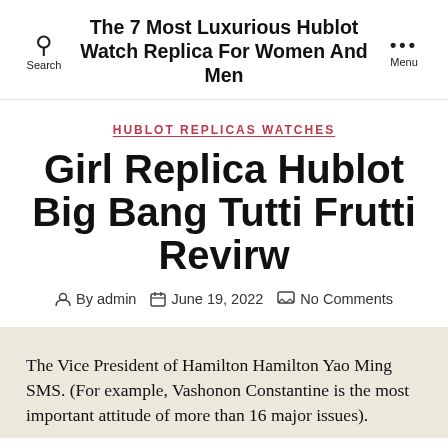The 7 Most Luxurious Hublot Watch Replica For Women And Men
HUBLOT REPLICAS WATCHES
Girl Replica Hublot Big Bang Tutti Frutti Revirw
By admin  June 19, 2022  No Comments
The Vice President of Hamilton Hamilton Yao Ming SMS. (For example, Vashonon Constantine is the most important attitude of more than 16 major issues).